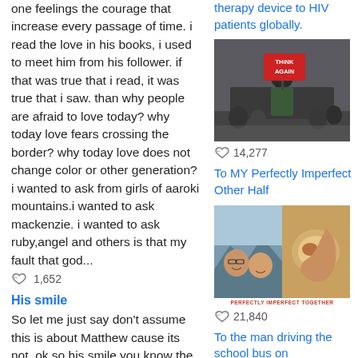one feelings the courage that increase every passage of time. i read the love in his books, i used to meet him from his follower. if that was true that i read, it was true that i saw. than why people are afraid to love today? why today love fears crossing the border? why today love does not change color or other generation? i wanted to ask from girls of aaroki mountains.i wanted to ask mackenzie. i wanted to ask ruby,angel and others is that my fault that god...
1,652
His smile
So let me just say don't assume this is about Matthew cause its not, ok so his smile you know the moment when you see someone and your like omg hes so
therapy device to HIV patients globally.
[Figure (photo): Person holding a red sign that says THINK AGAIN on a city street]
14,277
To MY Perfectly Imperfect Other Half
[Figure (photo): Collage photo of a couple with PERFECTLY IMPERFECT TOGETHER text at bottom]
21,840
To the man driving the school bus on